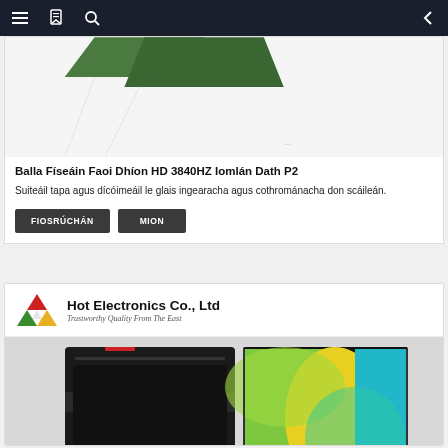Navigation bar with menu, bookmark, search icons and back arrow
[Figure (photo): Product image of LED video wall panel, partially shown at top of first card]
Balla Físeáin Faoi Dhíon HD 3840HZ Iomlán Dath P2
Suiteáil tapa agus dícóimeáil le glais ingearacha agus cothrománacha don scáileán.
FIOSRÚCHÁN    MION
[Figure (logo): Hot Electronics Co., Ltd logo with triangle icon and tagline 'Trustworthy Quality From The East']
[Figure (photo): LED display cabinet product photo showing black metal cabinet and colorful LED display panel]